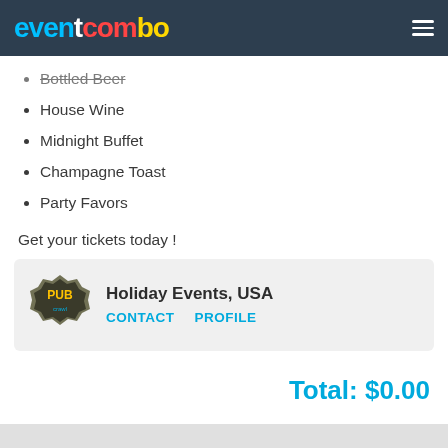eventcombo
Bottled Beer
House Wine
Midnight Buffet
Champagne Toast
Party Favors
Get your tickets today !
[Figure (logo): Pub crawl organizer badge logo]
Holiday Events, USA CONTACT PROFILE
Total: $0.00